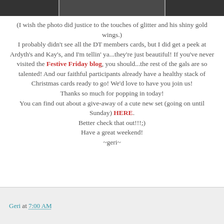[Figure (photo): Top portion of a photo showing a dark background, cropped]
(I wish the photo did justice to the touches of glitter and his shiny gold wings.) I probably didn't see all the DT members cards, but I did get a peek at Ardyth's and Kay's, and I'm tellin' ya...they're just beautiful!  If you've never visited the Festive Friday blog, you should...the rest of the gals are so talented!  And our faithful participants already have a healthy stack of Christmas cards ready to go!  We'd love to have you join us! Thanks so much for popping in today! You can find out about a give-away of a cute new set (going on until Sunday) HERE. Better check that out!!!;) Have a great weekend! ~geri~
Geri at 7:00 AM